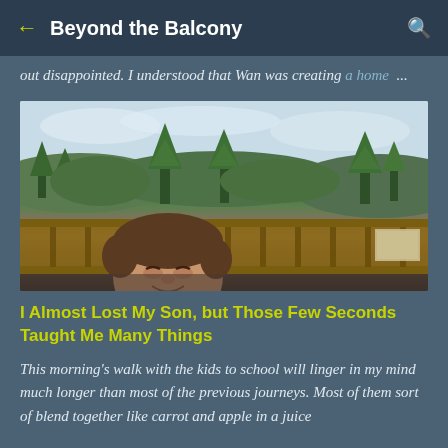Beyond the Balcony
out disappointed. I understood that Wan was creating a home ...
[Figure (photo): A young boy peeking over a wooden railing with a panoramic view of forested hills and cloudy sky in the background]
I Almost Lost My Son, but Those Few Seconds Taught Me Many Things
This morning's walk with the kids to school will linger in my mind much longer than most of the previous journeys. Most of them sort of blend together like carrot and apple in a juice